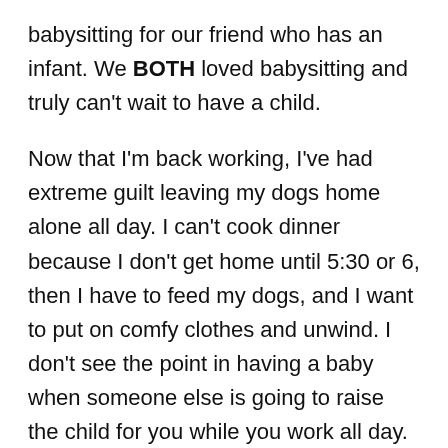babysitting for our friend who has an infant. We BOTH loved babysitting and truly can't wait to have a child.

Now that I'm back working, I've had extreme guilt leaving my dogs home alone all day. I can't cook dinner because I don't get home until 5:30 or 6, then I have to feed my dogs, and I want to put on comfy clothes and unwind. I don't see the point in having a baby when someone else is going to raise the child for you while you work all day. That is not the kind of mother I want to be. I want to be with my baby ALL the time, I don't want to miss out on those precious moments that may only happen once (first steps, first words, etc). I miss being at…